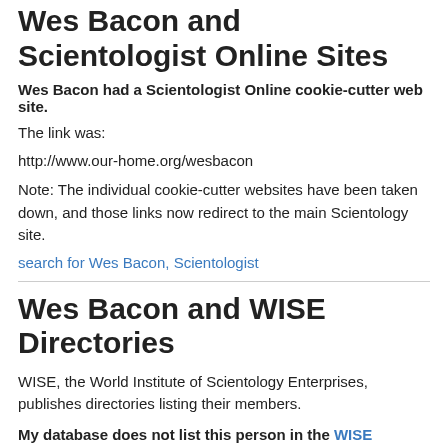Wes Bacon and Scientologist Online Sites
Wes Bacon had a Scientologist Online cookie-cutter web site.
The link was:
http://www.our-home.org/wesbacon
Note: The individual cookie-cutter websites have been taken down, and those links now redirect to the main Scientology site.
search for Wes Bacon, Scientologist
Wes Bacon and WISE Directories
WISE, the World Institute of Scientology Enterprises, publishes directories listing their members.
My database does not list this person in the WISE directories in my archives.